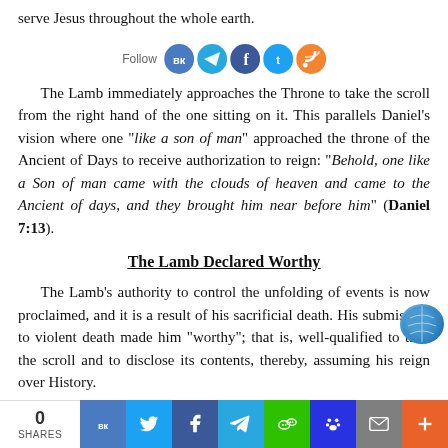serve Jesus throughout the whole earth.
[Figure (other): Social media follow bar with VK, Telegram, Facebook, Twitter, RSS icons]
The Lamb immediately approaches the Throne to take the scroll from the right hand of the one sitting on it. This parallels Daniel’s vision where one “like a son of man” approached the throne of the Ancient of Days to receive authorization to reign: “Behold, one like a Son of man came with the clouds of heaven and came to the Ancient of days, and they brought him near before him” (Daniel 7:13).
The Lamb Declared Worthy
The Lamb’s authority to control the unfolding of events is now proclaimed, and it is a result of his sacrificial death. His submission to violent death made him “worthy”; that is, well-qualified to take the scroll and to disclose its contents, thereby, assuming his reign over History.
[Figure (other): Bottom social share bar with share count 0 and icons: VK, Twitter, Facebook, Telegram, WeChat, Baidu, Mail, More]